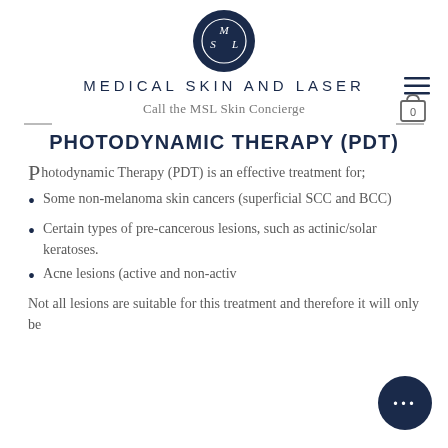[Figure (logo): MSL circular logo in dark navy blue with white text letters M, S, L]
MEDICAL SKIN AND LASER
Call the MSL Skin Concierge
PHOTODYNAMIC THERAPY (PDT)
Photodynamic Therapy (PDT) is an effective treatment for;
Some non-melanoma skin cancers (superficial SCC and BCC)
Certain types of pre-cancerous lesions, such as actinic/solar keratoses.
Acne lesions (active and non-active)
Not all lesions are suitable for this treatment and therefore it will only be